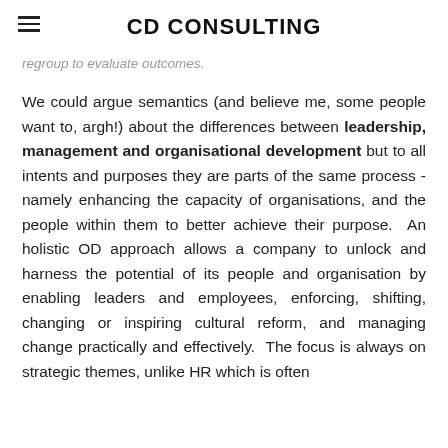CD CONSULTING
regroup to evaluate outcomes.
We could argue semantics (and believe me, some people want to, argh!) about the differences between leadership, management and organisational development but to all intents and purposes they are parts of the same process - namely enhancing the capacity of organisations, and the people within them to better achieve their purpose. An holistic OD approach allows a company to unlock and harness the potential of its people and organisation by enabling leaders and employees, enforcing, shifting, changing or inspiring cultural reform, and managing change practically and effectively. The focus is always on strategic themes, unlike HR which is often